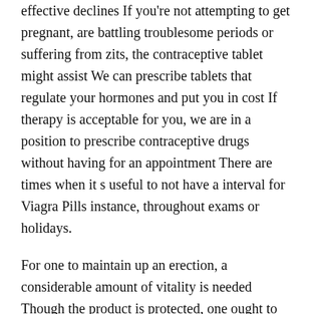effective declines If you're not attempting to get pregnant, are battling troublesome periods or suffering from zits, the contraceptive tablet might assist We can prescribe tablets that regulate your hormones and put you in cost If therapy is acceptable for you, we are in a position to prescribe contraceptive drugs without having for an appointment There are times when it s useful to not have a interval for Viagra Pills instance, throughout exams or holidays.
For one to maintain up an erection, a considerable amount of vitality is needed Though the product is protected, one ought to solely take the really helpful dosage Luckily, Max Performer components have some science behind them Patients taking part in drug trials must be fully informed of any potential risks before receiving any therapy On New Year Number 1 Male